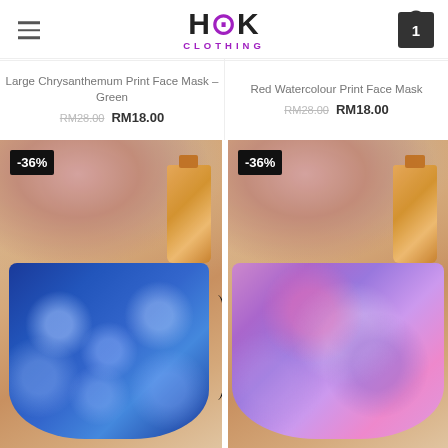HOOK CLOTHING
Large Chrysanthemum Print Face Mask – Green
RM28.00  RM18.00
Red Watercolour Print Face Mask
RM28.00  RM18.00
[Figure (photo): Blue floral print face mask with -36% discount badge, shown on beige background with dried flowers and perfume bottle]
[Figure (photo): Purple watercolour print face mask with -36% discount badge, shown on beige background with dried flowers and perfume bottle]